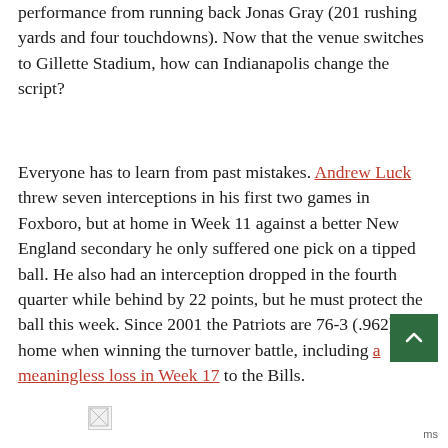performance from running back Jonas Gray (201 rushing yards and four touchdowns). Now that the venue switches to Gillette Stadium, how can Indianapolis change the script?
Everyone has to learn from past mistakes. Andrew Luck threw seven interceptions in his first two games in Foxboro, but at home in Week 11 against a better New England secondary he only suffered one pick on a tipped ball. He also had an interception dropped in the fourth quarter while behind by 22 points, but he must protect the ball this week. Since 2001 the Patriots are 76-3 (.962) at home when winning the turnover battle, including a meaningless loss in Week 17 to the Bills.
[Figure (other): Broken image placeholder icon]